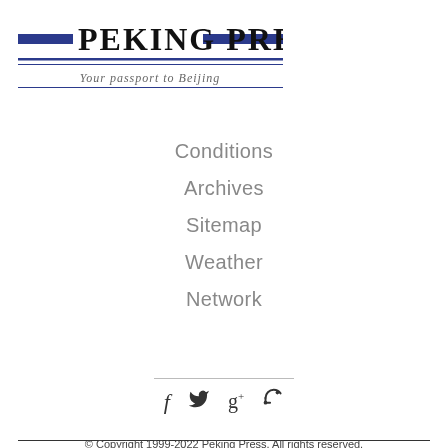[Figure (logo): Peking Press logo with two horizontal blue bars flanking the text 'PEKING PRESS' in large serif/display font, and italic tagline 'Your passport to Beijing' below on a dark line]
Conditions
Archives
Sitemap
Weather
Network
[Figure (infographic): Social media icons: Facebook (f), Twitter bird, Google+ (g+), RSS feed icon]
© Copyright 1999-2022 Peking Press. All rights reserved.